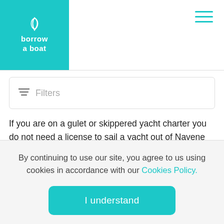borrow a boat
Filters
If you are on a gulet or skippered yacht charter you do not need a license to sail a yacht out of Navene Di Malcesine. This is also the case where you are renting a small motorboat without a cabin for a day trip around the local islands or beaches.
You do need a license if you are on a bareboat yacht charter, here are some examples of sailing qualifications:
By continuing to use our site, you agree to us using cookies in accordance with our Cookies Policy.
I understand